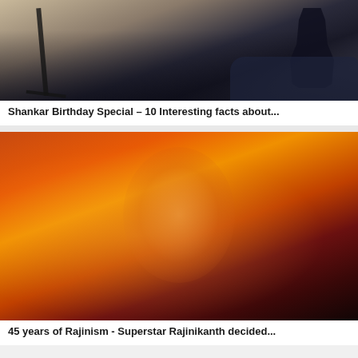[Figure (photo): A person in dark clothing standing near a car and camera tripod on a road, action/movie scene]
Shankar Birthday Special – 10 Interesting facts about...
[Figure (illustration): Illustrated movie poster showing Rajinikanth with sunglasses smiling in the center, surrounded by other characters against a red and orange dramatic background — 45 years of Rajinism fan art]
45 years of Rajinism - Superstar Rajinikanth decided...